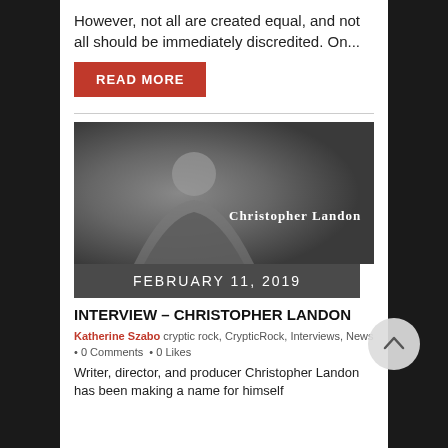However, not all are created equal, and not all should be immediately discredited. On...
READ MORE
[Figure (photo): Photo of Christopher Landon with name overlay on dark grey background]
FEBRUARY 11, 2019
INTERVIEW – CHRISTOPHER LANDON
Katherine Szabo  cryptic rock,  CrypticRock,  Interviews,  News  •  0 Comments  •  0 Likes
Writer, director, and producer Christopher Landon has been making a name for himself